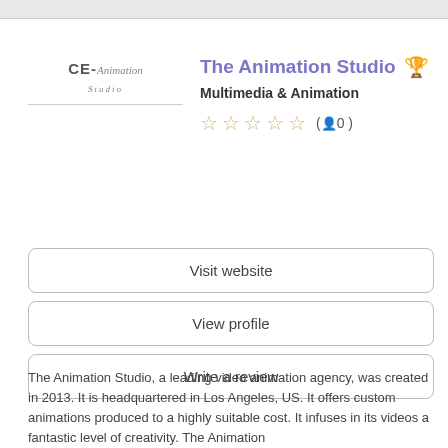[Figure (logo): CE Animation Studio logo with stylized text]
The Animation Studio 🏆
Multimedia & Animation
☆ ☆ ☆ ☆ ☆ (👤0)
Visit website
View profile
Write a review
The Animation Studio, a leading video animation agency, was created in 2013. It is headquartered in Los Angeles, US. It offers custom animations produced to a highly suitable cost. It infuses in its videos a fantastic level of creativity. The Animation